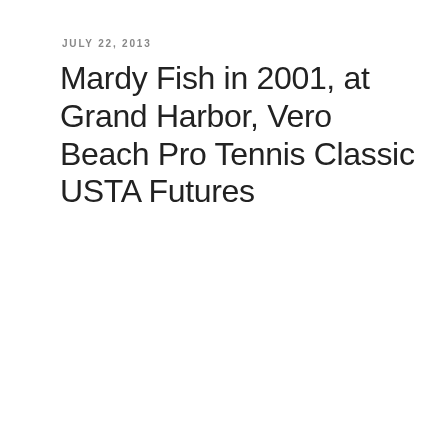JULY 22, 2013
Mardy Fish in 2001, at Grand Harbor, Vero Beach Pro Tennis Classic USTA Futures